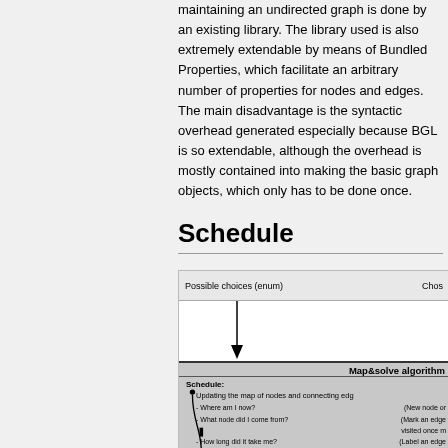maintaining an undirected graph is done by an existing library. The library used is also extremely extendable by means of Bundled Properties, which facilitate an arbitrary number of properties for nodes and edges. The main disadvantage is the syntactic overhead generated especially because BGL is so extendable, although the overhead is mostly contained into making the basic graph objects, which only has to be done once.
Schedule
[Figure (flowchart): A flowchart showing 'Possible choices (enum)' box at top with a downward arrow leading to 'Map&solve algorithm' box. Inside the map&solve box: Schedule section listing questions about node/edge updating: 'Where am I now?', 'What node did I come from?', 'How long did it take me?', 'Is this the first time I encounter a node?', 'Did I pass through a door?' with corresponding answers in parentheses on the right. A curved arrow on the left side connects elements within the schedule list.]